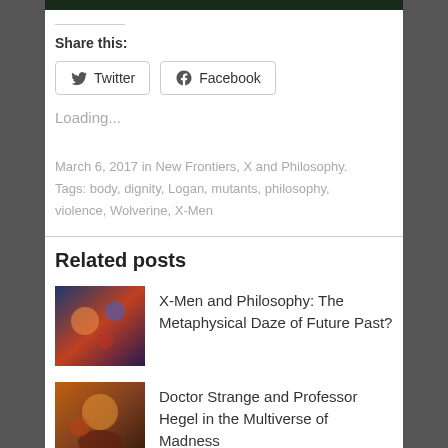[Figure (photo): Dark banner image at the top of the page]
Share this:
[Figure (other): Twitter share button]
[Figure (other): Facebook share button]
Loading...
March 6, 2017 in New Frontiers, X and Philosophy. Tags: body, dignity, Logan, mutants, philosophy, violence, Wolverine, X-Men
Related posts
[Figure (photo): Thumbnail for X-Men and Philosophy post]
X-Men and Philosophy: The Metaphysical Daze of Future Past?
[Figure (photo): Thumbnail for Doctor Strange post]
Doctor Strange and Professor Hegel in the Multiverse of Madness